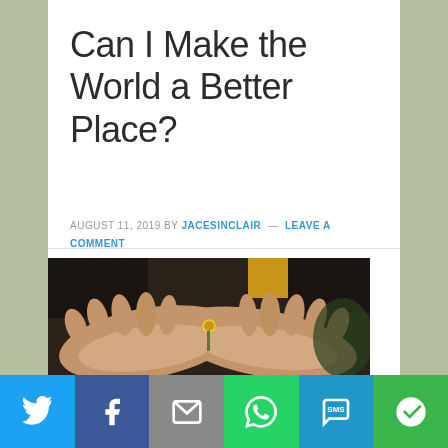Can I Make the World a Better Place?
AUGUST 11, 2019 BY JACESINCLAIR — LEAVE A COMMENT
[Figure (photo): Two open cupped hands holding a small yellow flower against a dark blurred background, person wearing a yellow top]
[Figure (infographic): Social sharing bar with Twitter, Facebook, Email, WhatsApp, SMS, and More buttons]